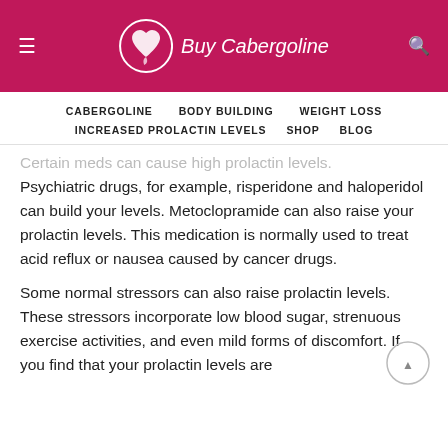Buy Cabergoline
CABERGOLINE   BODY BUILDING   WEIGHT LOSS   INCREASED PROLACTIN LEVELS   SHOP   BLOG
Certain meds can cause high prolactin levels. Psychiatric drugs, for example, risperidone and haloperidol can build your levels. Metoclopramide can also raise your prolactin levels. This medication is normally used to treat acid reflux or nausea caused by cancer drugs.
Some normal stressors can also raise prolactin levels. These stressors incorporate low blood sugar, strenuous exercise activities, and even mild forms of discomfort. If you find that your prolactin levels are